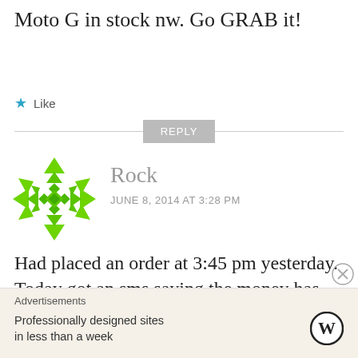Moto G in stock nw. Go GRAB it!
★ Like
REPLY
[Figure (illustration): Green geometric snowflake/mandala avatar icon for user Rock]
Rock
JUNE 8, 2014 AT 3:28 PM
Had placed an order at 3:45 pm yesterday. Today got an sms saying the money has been refunded at 2:40 pm.
Advertisements
Professionally designed sites in less than a week